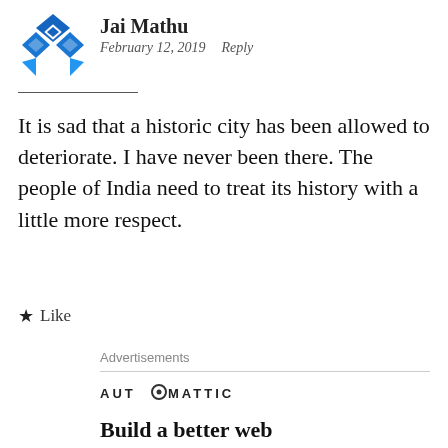Jai Mathu
February 12, 2019   Reply
It is sad that a historic city has been allowed to deteriorate. I have never been there. The people of India need to treat its history with a little more respect.
★ Like
Advertisements
[Figure (logo): Automattic logo with stylized 'O' containing a dot, rendered in uppercase spaced letters]
Build a better web and a better world.